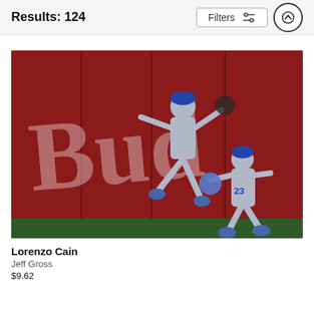Results: 124
[Figure (photo): Two Kansas City Royals baseball players at the outfield wall. One player leaping with arm raised holding a glove with a ball, the other player wearing #23 (Fort) crouching near the wall. Red Budweiser advertisement sign in the background.]
Lorenzo Cain
Jeff Gross
$9.62